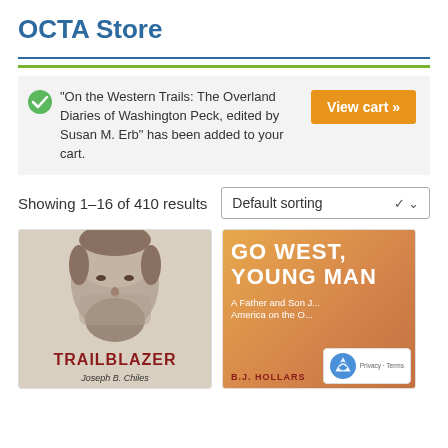OCTA Store
“On the Western Trails: The Overland Diaries of Washington Peck, edited by Susan M. Erb” has been added to your cart.
Showing 1–16 of 410 results
[Figure (screenshot): Default sorting dropdown selector]
[Figure (photo): Book cover: Forgotten Trailblazer by Joseph B. Chiles — sepia portrait of bearded man]
[Figure (illustration): Book cover: Go West, Young Man — orange gradient background with bold white text, subtitle about a father and son journey on the Oregon Trail, author B.J. Hollars]